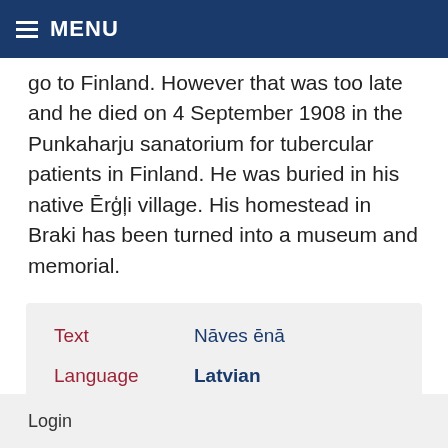MENU
go to Finland. However that was too late and he died on 4 September 1908 in the Punkaharju sanatorium for tubercular patients in Finland. He was buried in his native Ērģļi village. His homestead in Braki has been turned into a museum and memorial.
| Text | Nāves ēnā |
| Language | Latvian |
Login